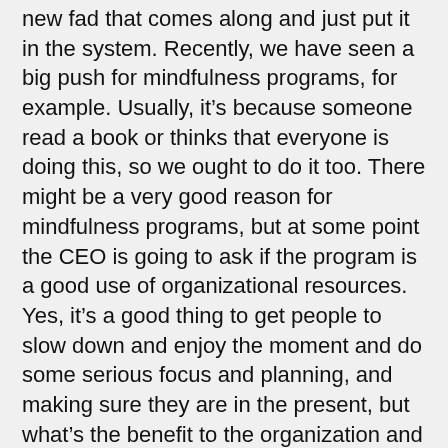new fad that comes along and just put it in the system. Recently, we have seen a big push for mindfulness programs, for example. Usually, it’s because someone read a book or thinks that everyone is doing this, so we ought to do it too. There might be a very good reason for mindfulness programs, but at some point the CEO is going to ask if the program is a good use of organizational resources. Yes, it’s a good thing to get people to slow down and enjoy the moment and do some serious focus and planning, and making sure they are in the present, but what’s the benefit to the organization and how does it fit into the overall plan?”
The irony, he notes, is that many of these bright shiny objects do address real needs and can improve productivity and lessen sick days, but the key is to connect these various tactics to the organizational objectives and make sure they work together and include a measurement and evaluation process. “We are